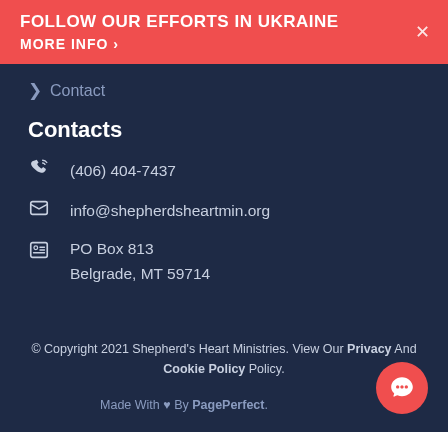FOLLOW OUR EFFORTS IN UKRAINE MORE INFO >
> Contact
Contacts
(406) 404-7437
info@shepherdsheartmin.org
PO Box 813
Belgrade, MT 59714
© Copyright 2021 Shepherd's Heart Ministries. View Our Privacy And Cookie Policy Policy.
Made With ♡ By PagePerfect.